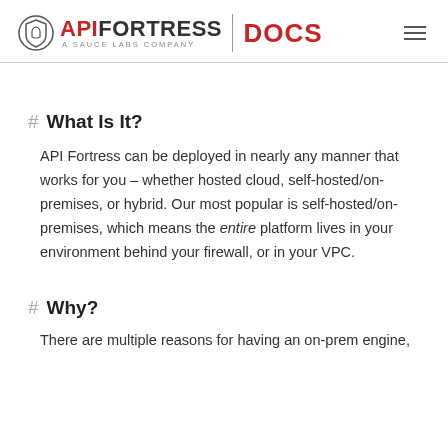API FORTRESS | DOCS — A SAUCE LABS COMPANY
# What Is It?
API Fortress can be deployed in nearly any manner that works for you – whether hosted cloud, self-hosted/on-premises, or hybrid. Our most popular is self-hosted/on-premises, which means the entire platform lives in your environment behind your firewall, or in your VPC.
# Why?
There are multiple reasons for having an on-prem engine,